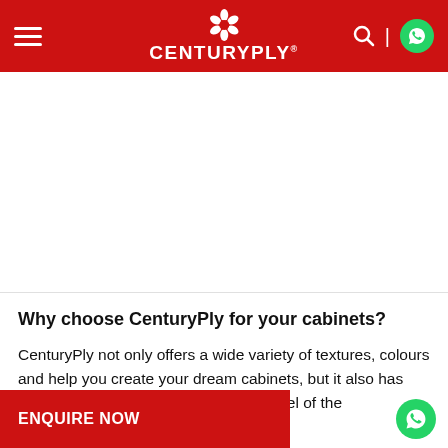CENTURYPLY
[Figure (other): White empty content area / image placeholder below header]
Why choose CenturyPly for your cabinets?
CenturyPly not only offers a wide variety of textures, colours and help you create your dream cabinets, but it also has features that go beyond the look and feel of the